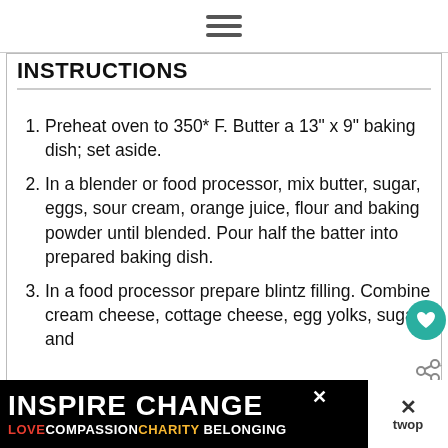≡ (hamburger menu icon)
INSTRUCTIONS
Preheat oven to 350* F. Butter a 13" x 9" baking dish; set aside.
In a blender or food processor, mix butter, sugar, eggs, sour cream, orange juice, flour and baking powder until blended. Pour half the batter into prepared baking dish.
In a food processor prepare blintz filling. Combine cream cheese, cottage cheese, egg yolks, sugar and
[Figure (infographic): Ad banner: INSPIRE CHANGE in large white bold text on black background with rainbow gradient, below it LOVE COMPASSION CHARITY BELONGING in colored text. Close X button visible. twop logo on right side.]